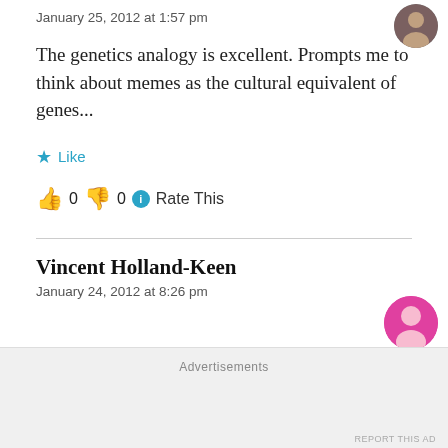January 25, 2012 at 1:57 pm
The genetics analogy is excellent. Prompts me to think about memes as the cultural equivalent of genes...
★ Like
👍 0 👎 0 ℹ Rate This
Vincent Holland-Keen
January 24, 2012 at 8:26 pm
Advertisements
REPORT THIS AD